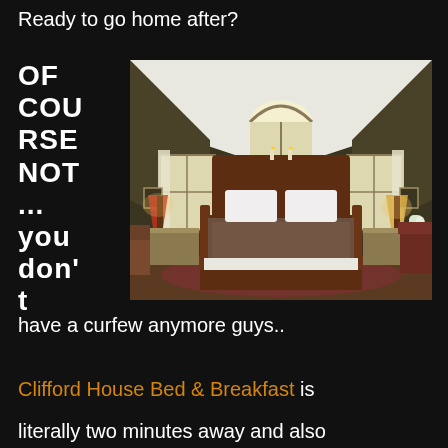Ready to go home after?
OF COURSE NOT ... you don't
[Figure (photo): Interior photo of a bed and breakfast bedroom with a four-poster bed, white pillows, patterned bedspread, two bedside tables with lamps, white curtains, arched window at top, sloped ceiling with dark walls.]
have a curfew anymore guys..
Clifford House Bed & Breakfast is literally two minutes away and also